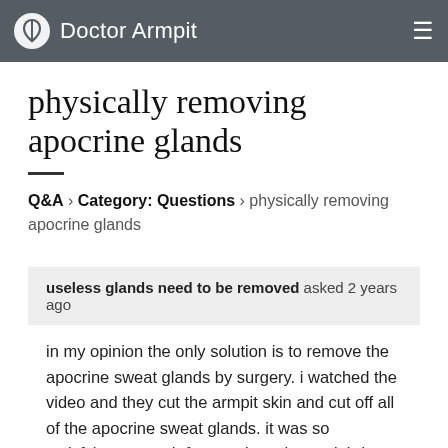Doctor Armpit
physically removing apocrine glands
Q&A › Category: Questions › physically removing apocrine glands
useless glands need to be removed asked 2 years ago
in my opinion the only solution is to remove the apocrine sweat glands by surgery. i watched the video and they cut the armpit skin and cut off all of the apocrine sweat glands. it was so satisfying to watch for me since those glabds are the cause of